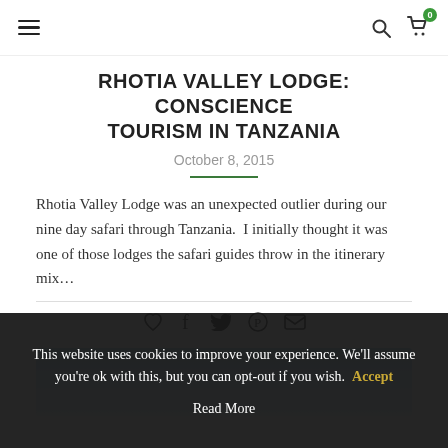≡  🔍  🛒 0
RHOTIA VALLEY LODGE: CONSCIENCE TOURISM IN TANZANIA
October 8, 2015
Rhotia Valley Lodge was an unexpected outlier during our nine day safari through Tanzania.  I initially thought it was one of those lodges the safari guides throw in the itinerary mix…
[Figure (photo): Sky/landscape photo strip, light blue gradient suggesting open sky]
This website uses cookies to improve your experience. We'll assume you're ok with this, but you can opt-out if you wish. Accept
Read More